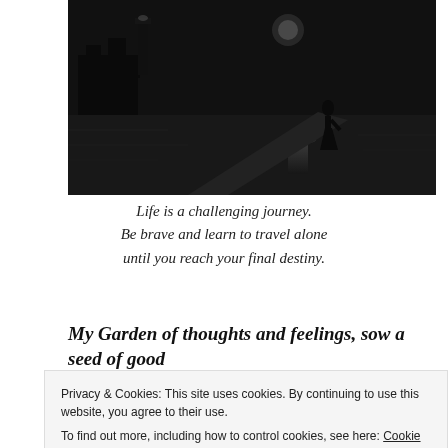[Figure (photo): Black and white photograph of a person silhouetted walking on a pier or jetty by the sea at night, with a castle or fort visible in the background and moonlight reflecting on the water.]
Life is a challenging journey.
Be brave and learn to travel alone
until you reach your final destiny.
My Garden of thoughts and feelings, sow a seed of good
✏ ❤
Privacy & Cookies: This site uses cookies. By continuing to use this website, you agree to their use.
To find out more, including how to control cookies, see here: Cookie Policy
Close and accept
[Figure (photo): Partial view of a garden with green leafy vegetables and plants.]